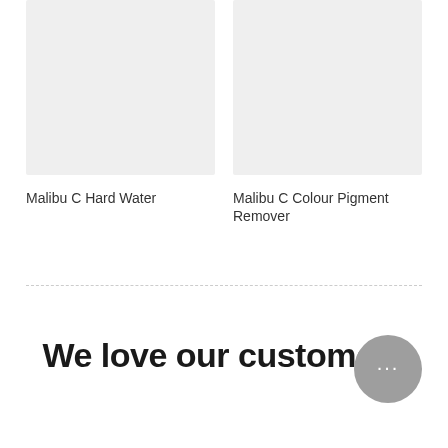[Figure (photo): Product image placeholder for Malibu C Hard Water — light gray rectangle]
Malibu C Hard Water
[Figure (photo): Product image placeholder for Malibu C Colour Pigment Remover — light gray rectangle]
Malibu C Colour Pigment Remover
We love our customers